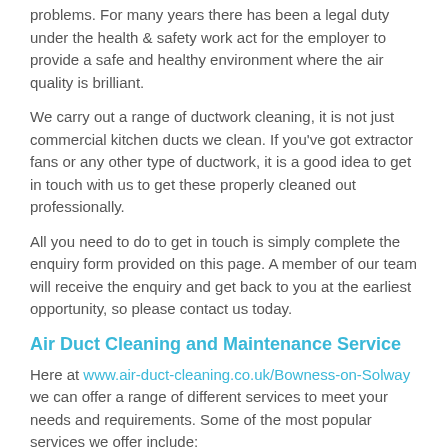problems. For many years there has been a legal duty under the health & safety work act for the employer to provide a safe and healthy environment where the air quality is brilliant.
We carry out a range of ductwork cleaning, it is not just commercial kitchen ducts we clean. If you've got extractor fans or any other type of ductwork, it is a good idea to get in touch with us to get these properly cleaned out professionally.
All you need to do to get in touch is simply complete the enquiry form provided on this page. A member of our team will receive the enquiry and get back to you at the earliest opportunity, so please contact us today.
Air Duct Cleaning and Maintenance Service
Here at www.air-duct-cleaning.co.uk/Bowness-on-Solway we can offer a range of different services to meet your needs and requirements. Some of the most popular services we offer include:
Standard cleaning of indoor air ducts